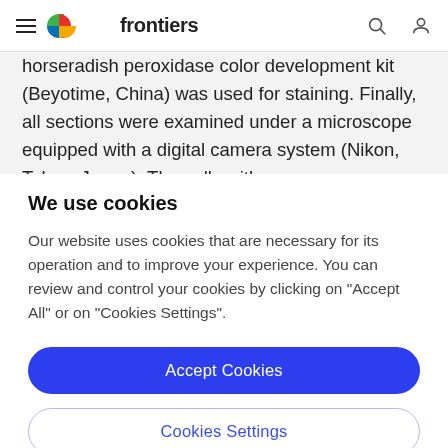frontiers
horseradish peroxidase color development kit (Beyotime, China) was used for staining. Finally, all sections were examined under a microscope equipped with a digital camera system (Nikon, Tokyo, Japan). The cells with
We use cookies
Our website uses cookies that are necessary for its operation and to improve your experience. You can review and control your cookies by clicking on "Accept All" or on "Cookies Settings".
Accept Cookies
Cookies Settings